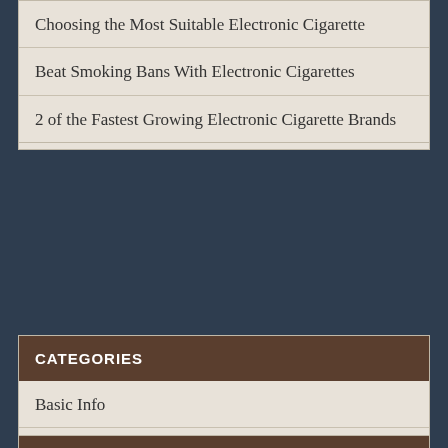Choosing the Most Suitable Electronic Cigarette
Beat Smoking Bans With Electronic Cigarettes
2 of the Fastest Growing Electronic Cigarette Brands
CATEGORIES
Basic Info
Benefits
Review
Tips
RECENT POSTS